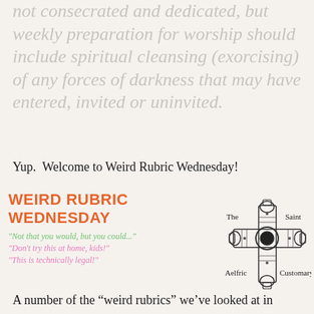not consecrated and dedicated, but weekly preparation for worship should include spiritual cleansing (exorcising) of any forces of darkness that may have entered, invited or uninvited.
Yup.  Welcome to Weird Rubric Wednesday!
[Figure (infographic): Weird Rubric Wednesday banner with orange title text, three taglines in green and pink italic text, and a decorative Celtic cross logo with labels: The Saint Aelfric Customary]
A number of the “weird rubrics” we’ve looked at in